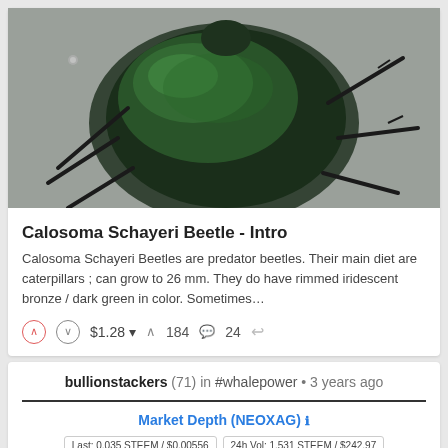[Figure (photo): Close-up photo of a Calosoma Schayeri beetle, dark green iridescent, on a light background]
Calosoma Schayeri Beetle - Intro
Calosoma Schayeri Beetles are predator beetles. Their main diet are caterpillars ; can grow to 26 mm. They do have rimmed iridescent bronze / dark green in color. Sometimes…
$ 1.28 ▾  ∧ 184  💬 24  ↩
bullionstackers (71) in #whalepower • 3 years ago
Market Depth (NEOXAG) ℹ
Last: 0.035 STEEM / $0.00556  24h Vol: 1.531 STEEM / $242.97  Bid: 0.035 STEEM  Ask: 0.0598 STEEM
[Figure (other): Market depth chart legend with Buy (green) and Sell (red) labels and partial chart area]